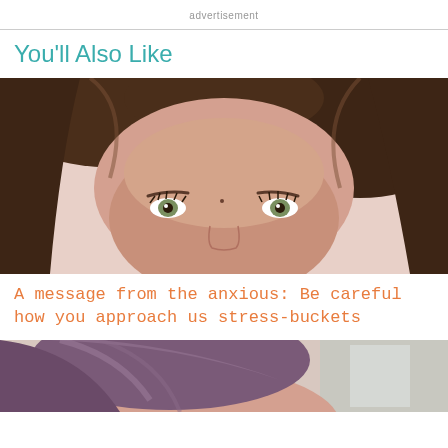advertisement
You'll Also Like
[Figure (photo): Close-up photo of a woman with dark brown hair, showing forehead and eyes against a light pink/beige background]
A message from the anxious: Be careful how you approach us stress-buckets
[Figure (photo): Partial photo of a person with dark/purple hair visible from the top, cropped at bottom of page]